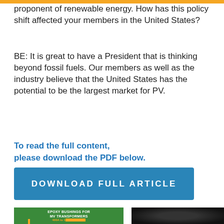proponent of renewable energy. How has this policy shift affected your members in the United States?
BE: It is great to have a President that is thinking beyond fossil fuels. Our members as well as the industry believe that the United States has the potential to be the largest market for PV.
To read the full content, please download the PDF below.
[Figure (other): Blue download button with white bold text reading DOWNLOAD FULL ARTICLE]
[Figure (other): Two thumbnail images side by side: left is green background with text EPOXY BUSHINGS FOR MV TRANSFORMERS 400A to 1...; right is dark/black background with circular red/orange element]